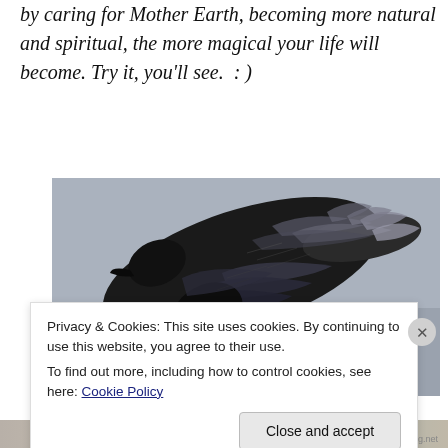by caring for Mother Earth, becoming more natural and spiritual, the more magical your life will become. Try it, you'll see.  : )
[Figure (photo): Close-up photograph of a large black bird (crow or raven) in flight, wings spread upward, against a grey sky background. Detailed feather structure visible.]
Privacy & Cookies: This site uses cookies. By continuing to use this website, you agree to their use.
To find out more, including how to control cookies, see here: Cookie Policy